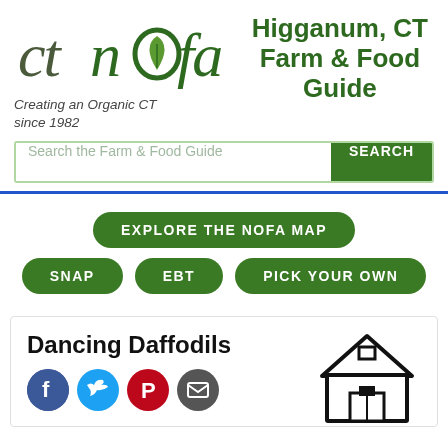[Figure (logo): ctnofa logo with green leaf in the letter o]
Higganum, CT Farm & Food Guide
Creating an Organic CT since 1982
Search the Farm & Food Guide
EXPLORE THE NOFA MAP
SNAP
EBT
PICK YOUR OWN
Dancing Daffodils
[Figure (illustration): Social media icons: Facebook, Twitter, Pinterest, Email]
[Figure (illustration): Barn illustration outline]